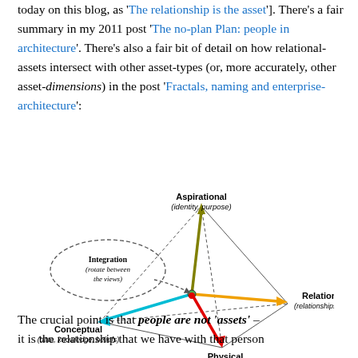today on this blog, as 'The relationship is the asset']. There's a fair summary in my 2011 post 'The no-plan Plan: people in architecture'. There's also a fair bit of detail on how relational-assets intersect with other asset-types (or, more accurately, other asset-dimensions) in the post 'Fractals, naming and enterprise-architecture':
[Figure (diagram): A 3D tetrahedron/pyramid diagram showing four asset-dimensions: Aspirational (identity, purpose) at top, Conceptual (data, knowledge, beliefs) at bottom-left, Relational (relationships, feelings) at right, Physical (actions, things, machines) at bottom. Colored arrows point from a central node to each vertex: olive/green arrow up to Aspirational, cyan arrow left to Conceptual, orange arrow right to Relational, red arrow down-right to Physical. A dashed ellipse labeled 'Integration (rotate between the views)' with a curved dashed arrow points toward the center.]
The crucial point is that people are not 'assets' – it is the relationship that we have with that person